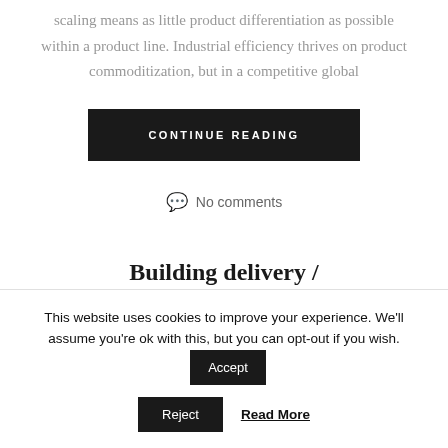scaling means as little product differentiation as possible within a product line. Industrial efficiency thrives on product commoditization, but in a competitive global
CONTINUE READING
No comments
Building delivery /
This website uses cookies to improve your experience. We'll assume you're ok with this, but you can opt-out if you wish. Accept
Reject
Read More